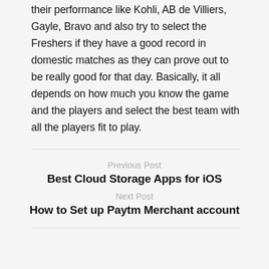their performance like Kohli, AB de Villiers, Gayle, Bravo and also try to select the Freshers if they have a good record in domestic matches as they can prove out to be really good for that day. Basically, it all depends on how much you know the game and the players and select the best team with all the players fit to play.
Previous Post
Best Cloud Storage Apps for iOS
Next Post
How to Set up Paytm Merchant account